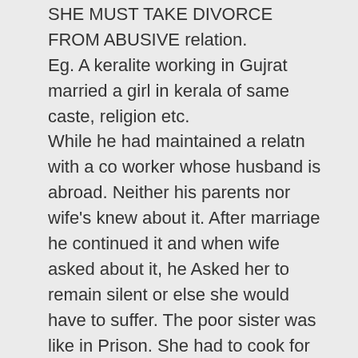SHE MUST TAKE DIVORCE FROM ABUSIVE relation. Eg. A keralite working in Gujrat married a girl in kerala of same caste, religion etc. While he had maintained a relatn with a co worker whose husband is abroad. Neither his parents nor wife's knew about it. After marriage he continued it and when wife asked about it, he Asked her to remain silent or else she would have to suffer. The poor sister was like in Prison. She had to cook for her husband and his lover. She had to silent to their abuses. She hadnt had any contact with outer world for